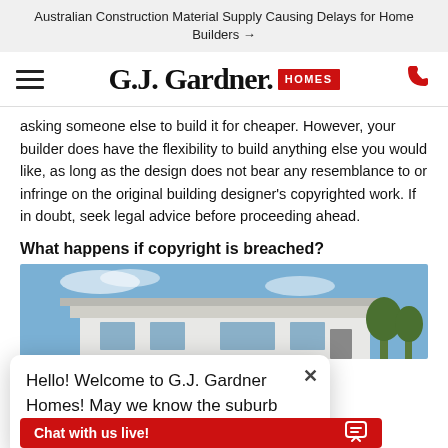Australian Construction Material Supply Causing Delays for Home Builders →
[Figure (logo): G.J. Gardner Homes logo with hamburger menu icon and phone icon]
asking someone else to build it for cheaper. However, your builder does have the flexibility to build anything else you would like, as long as the design does not bear any resemblance to or infringe on the original building designer's copyrighted work. If in doubt, seek legal advice before proceeding ahead.
What happens if copyright is breached?
[Figure (photo): Modern two-storey house with flat roof, white exterior, blue sky background]
Hello! Welcome to G.J. Gardner Homes! May we know the suburb and...
Chat with us live!